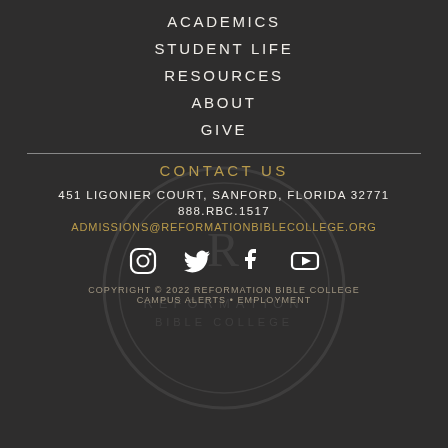ACADEMICS
STUDENT LIFE
RESOURCES
ABOUT
GIVE
CONTACT US
451 LIGONIER COURT, SANFORD, FLORIDA 32771
888.RBC.1517
ADMISSIONS@REFORMATIONBIBLECOLLEGE.ORG
[Figure (illustration): Social media icons row: Instagram, Twitter, Facebook, YouTube]
COPYRIGHT © 2022 REFORMATION BIBLE COLLEGE CAMPUS ALERTS • EMPLOYMENT